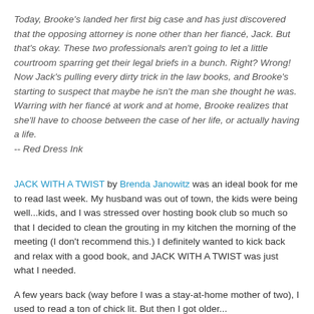Today, Brooke's landed her first big case and has just discovered that the opposing attorney is none other than her fiancé, Jack. But that's okay. These two professionals aren't going to let a little courtroom sparring get their legal briefs in a bunch. Right? Wrong! Now Jack's pulling every dirty trick in the law books, and Brooke's starting to suspect that maybe he isn't the man she thought he was. Warring with her fiancé at work and at home, Brooke realizes that she'll have to choose between the case of her life, or actually having a life. -- Red Dress Ink
JACK WITH A TWIST by Brenda Janowitz was an ideal book for me to read last week. My husband was out of town, the kids were being well...kids, and I was stressed over hosting book club so much so that I decided to clean the grouting in my kitchen the morning of the meeting (I don't recommend this.) I definitely wanted to kick back and relax with a good book, and JACK WITH A TWIST was just what I needed.
A few years back (way before I was a stay-at-home mother of two), I used to read a ton of chick lit. But then I got older...